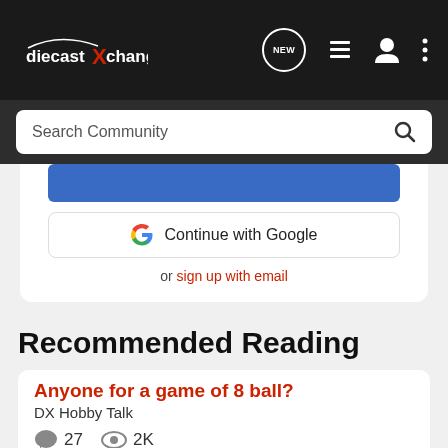[Figure (screenshot): diecastXchange website navigation bar with logo, new notification icon, list icon, user icon, and dots menu]
[Figure (screenshot): Search Community input bar with magnifying glass icon]
[Figure (screenshot): Continue with Google button and sign up with email link in a modal card]
Recommended Reading
Anyone for a game of 8 ball?
DX Hobby Talk
27 comments, 2K views
Road Runner 72 · updated May 26, 2007